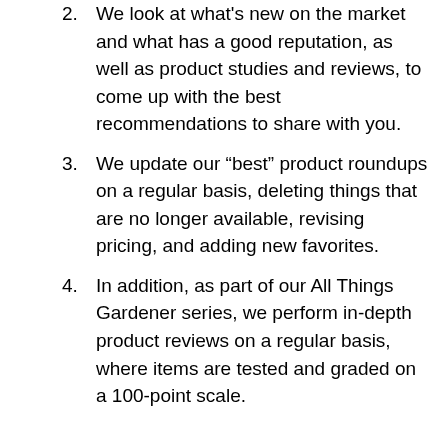2. We look at what's new on the market and what has a good reputation, as well as product studies and reviews, to come up with the best recommendations to share with you.
3. We update our “best” product roundups on a regular basis, deleting things that are no longer available, revising pricing, and adding new favorites.
4. In addition, as part of our All Things Gardener series, we perform in-depth product reviews on a regular basis, where items are tested and graded on a 100-point scale.
Apply Now!
For any questions or to submit a guest post, please email us.